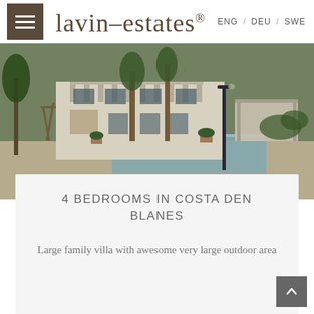ENG / DEU / SWE
lavin-estates®
[Figure (photo): Exterior photo of a large white family villa with a swimming pool, palm trees, and outdoor area. Pergola structure visible on the right.]
4 BEDROOMS IN COSTA DEN BLANES
Large family villa with awesome very large outdoor area